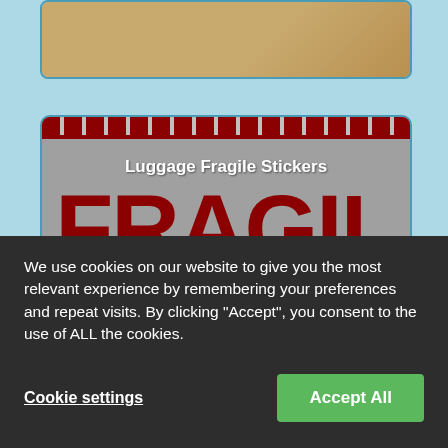[Figure (illustration): Partial top image showing a cropped illustration with a tan/brown background, partially visible at the top of the page.]
[Figure (illustration): Luggage Fragile Sticker card with grey background, red diagonal stripe header, white subtitle text 'Luggage Fragile Stickers', large dark red bold FRAGIL text, and a 'View Tip Details' button.]
We use cookies on our website to give you the most relevant experience by remembering your preferences and repeat visits. By clicking “Accept”, you consent to the use of ALL the cookies.
Cookie settings
Accept All